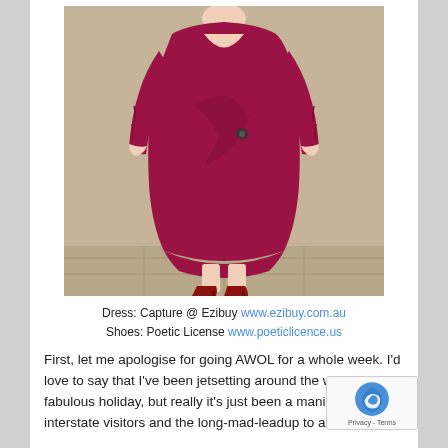[Figure (photo): Woman wearing a long-sleeve dark magenta/burgundy wrap dress with ruching and a decorative brooch at the waist, paired with red high heels, standing against a beige/tan wall on a tiled floor.]
Dress: Capture @ Ezibuy www.ezibuy.com.au
Shoes: Poetic License www.poeticlicence.us
First, let me apologise for going AWOL for a whole week. I'd love to say that I've been jetsetting around the world a fabulous holiday, but really it's just been a manic week with interstate visitors and the long-mad-leadup to a retail